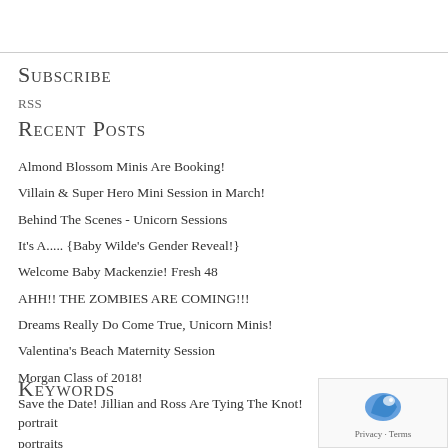Subscribe
RSS
Recent Posts
Almond Blossom Minis Are Booking!
Villain & Super Hero Mini Session in March!
Behind The Scenes - Unicorn Sessions
It's A..... {Baby Wilde's Gender Reveal!}
Welcome Baby Mackenzie! Fresh 48
AHH!! THE ZOMBIES ARE COMING!!!
Dreams Really Do Come True, Unicorn Minis!
Valentina's Beach Maternity Session
Morgan Class of 2018!
Save the Date! Jillian and Ross Are Tying The Knot!
Keywords
portrait
portraits